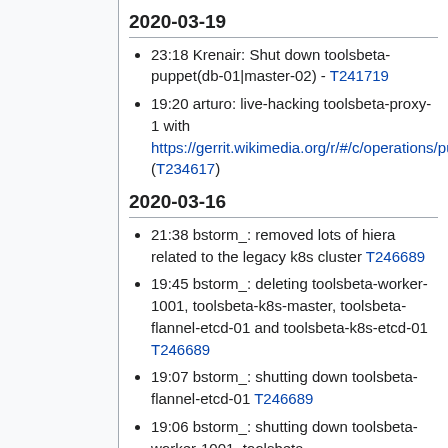2020-03-19
23:18 Krenair: Shut down toolsbeta-puppet(db-01|master-02) - T241719
19:20 arturo: live-hacking toolsbeta-proxy-1 with https://gerrit.wikimedia.org/r/#/c/operations/puppet/+/579952 (T234617)
2020-03-16
21:38 bstorm_: removed lots of hiera related to the legacy k8s cluster T246689
19:45 bstorm_: deleting toolsbeta-worker-1001, toolsbeta-k8s-master, toolsbeta-flannel-etcd-01 and toolsbeta-k8s-etcd-01 T246689
19:07 bstorm_: shutting down toolsbeta-flannel-etcd-01 T246689
19:06 bstorm_: shutting down toolsbeta-worker-1001, toolsbeta-